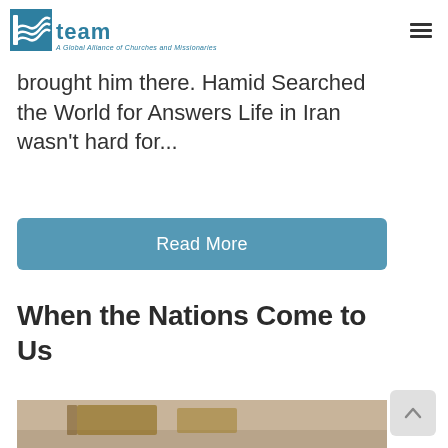TEAM — A Global Alliance of Churches and Missionaries
brought him there. Hamid Searched the World for Answers Life in Iran wasn't hard for...
Read More
When the Nations Come to Us
[Figure (photo): Partial photo visible at bottom of page, appears to show a table surface]